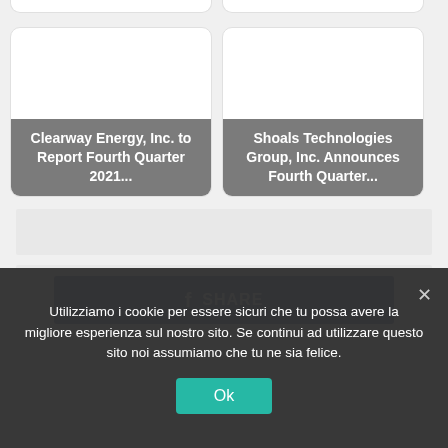[Figure (screenshot): Partial top card row showing two truncated white cards with rounded bottoms, cut off at the top of the page]
[Figure (screenshot): Card for 'Clearway Energy, Inc. to Report Fourth Quarter 2021...' — white rounded card with grey overlay label]
[Figure (screenshot): Card for 'Shoals Technologies Group, Inc. Announces Fourth Quarter...' — white rounded card with grey overlay label]
[Figure (screenshot): Grey advertisement/banner placeholder bar]
[Figure (screenshot): Share section with Facebook SHARE button in blue]
Utilizziamo i cookie per essere sicuri che tu possa avere la migliore esperienza sul nostro sito. Se continui ad utilizzare questo sito noi assumiamo che tu ne sia felice.
Ok